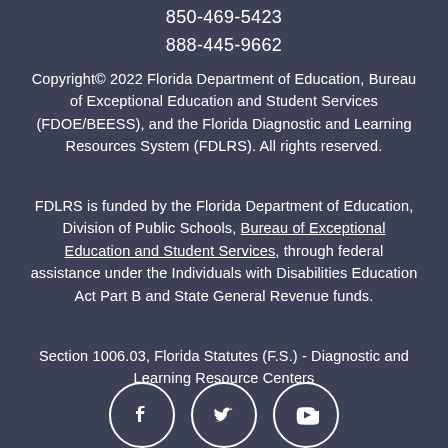850-469-5423
888-445-9662
Copyright© 2022 Florida Department of Education, Bureau of Exceptional Education and Student Services (FDOE/BEESS), and the Florida Diagnostic and Learning Resources System (FDLRS). All rights reserved.
FDLRS is funded by the Florida Department of Education, Division of Public Schools, Bureau of Exceptional Education and Student Services, through federal assistance under the Individuals with Disabilities Education Act Part B and State General Revenue funds.
Section 1006.03, Florida Statutes (F.S.) - Diagnostic and Learning Resource Centers
[Figure (other): Three social media icon circles: Facebook (f), Twitter (bird), YouTube (play button)]